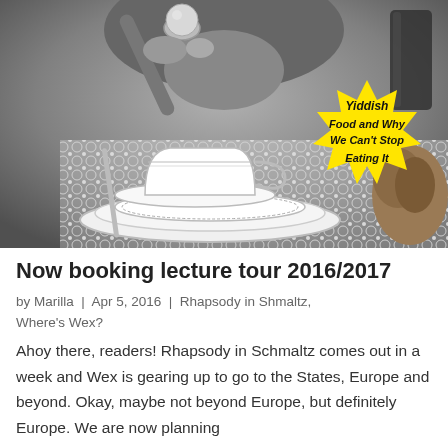[Figure (photo): Black and white photograph of a person about to eat a matzah ball from a spoon, with a china teacup and saucers on a lace tablecloth. A yellow starburst badge overlaid reads: Yiddish Food and Why We Can't Stop Eating It]
Now booking lecture tour 2016/2017
by Marilla | Apr 5, 2016 | Rhapsody in Shmaltz, Where's Wex?
Ahoy there, readers! Rhapsody in Schmaltz comes out in a week and Wex is gearing up to go to the States, Europe and beyond. Okay, maybe not beyond Europe, but definitely Europe. We are now planning